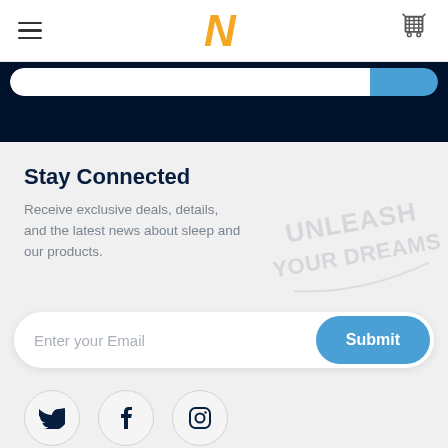[Figure (logo): Yellow/orange italic N logo centered in header]
[Figure (screenshot): Dark navy banner strip with partial search bar visible at top]
Stay Connected
Receive exclusive deals, details, and the latest news about sleep and our products.
[Figure (illustration): Watermark text reading UNLEASH YOUR DREAMS in light gray cursive]
[Figure (screenshot): Email input field with Submit button]
[Figure (illustration): Three social media icons: Twitter, Facebook, Instagram in circles]